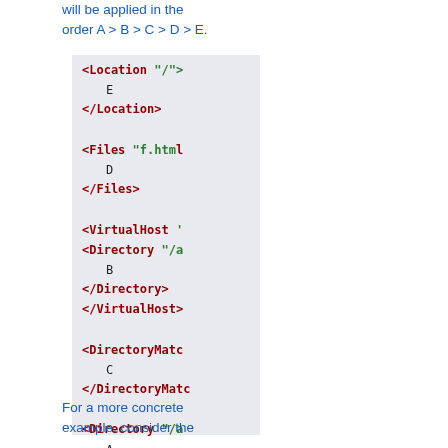directives in this example will be applied in the order A > B > C > D > E.
[Figure (screenshot): Code block showing Apache configuration XML-style directives with Location, Files, VirtualHost, Directory, DirectoryMatch, and Directory sections containing letters E, D, B, C, A respectively, displayed with red bold tags and green bold attribute values on a light blue-grey background.]
For a more concrete example, consider the